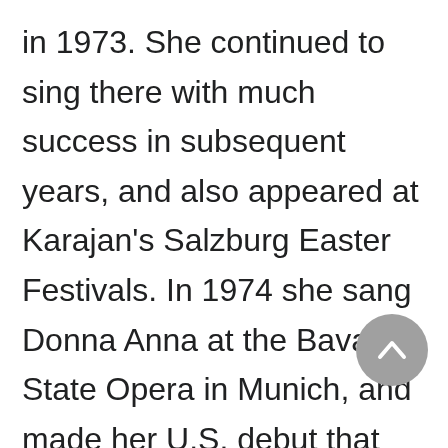in 1973. She continued to sing there with much success in subsequent years, and also appeared at Karajan's Salzburg Easter Festivals. In 1974 she sang Donna Anna at the Bavarian State Opera in Munich, and made her U.S. debut that same year at the San Francisco Opera in the same role. In 1975 she appeared for the first time at London's Covent Garden as Fiordiligi. She made her debut at the Vienna State Opera in 1977 as Mozart's Countess. Her subsequent successes